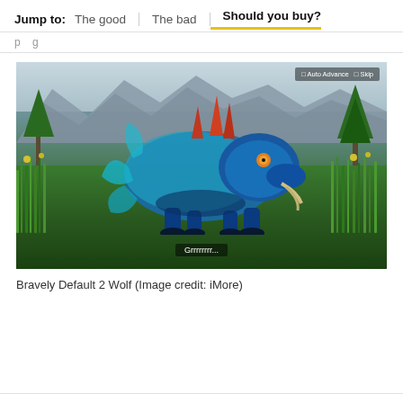Jump to: The good | The bad | Should you buy?
[Figure (screenshot): A blue wolf-like creature from the video game Bravely Default 2, standing in a grassy field with mountains in the background. The creature has teal/blue fur with glowing orange eyes. A game UI overlay in the top right shows 'Auto Advance' and 'Skip' buttons. A subtitle at the bottom reads 'Grrrrrrrr...']
Bravely Default 2 Wolf (Image credit: iMore)